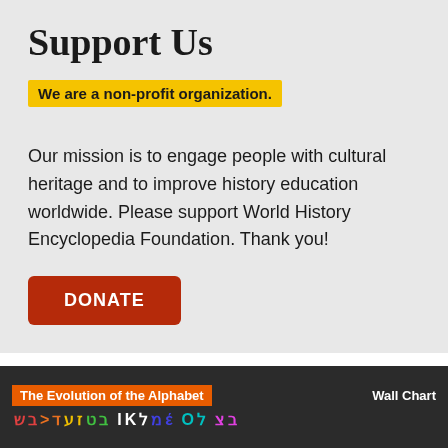Support Us
We are a non-profit organization.
Our mission is to engage people with cultural heritage and to improve history education worldwide. Please support World History Encyclopedia Foundation. Thank you!
[Figure (other): Red DONATE button]
[Figure (infographic): The Evolution of the Alphabet Wall Chart banner with colorful ancient alphabet characters on dark background]